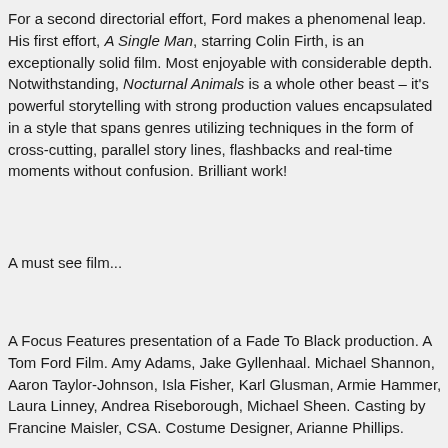For a second directorial effort, Ford makes a phenomenal leap. His first effort, A Single Man, starring Colin Firth, is an exceptionally solid film. Most enjoyable with considerable depth. Notwithstanding, Nocturnal Animals is a whole other beast – it's powerful storytelling with strong production values encapsulated in a style that spans genres utilizing techniques in the form of cross-cutting, parallel story lines, flashbacks and real-time moments without confusion. Brilliant work!
A must see film...
A Focus Features presentation of a Fade To Black production. A Tom Ford Film. Amy Adams, Jake Gyllenhaal. Michael Shannon, Aaron Taylor-Johnson, Isla Fisher, Karl Glusman, Armie Hammer, Laura Linney, Andrea Riseborough, Michael Sheen. Casting by Francine Maisler, CSA. Costume Designer, Arianne Phillips.